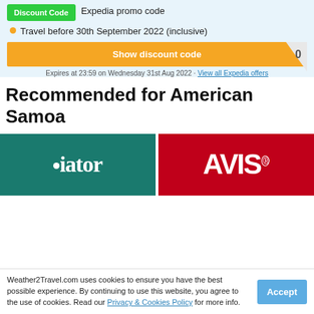Expedia promo code
Travel before 30th September 2022 (inclusive)
Show discount code
Expires at 23:59 on Wednesday 31st Aug 2022 · View all Expedia offers
Recommended for American Samoa
[Figure (logo): Viator logo — white text on teal/dark green background]
[Figure (logo): AVIS car rental logo — white bold text on red background]
Weather2Travel.com uses cookies to ensure you have the best possible experience. By continuing to use this website, you agree to the use of cookies. Read our Privacy & Cookies Policy for more info.